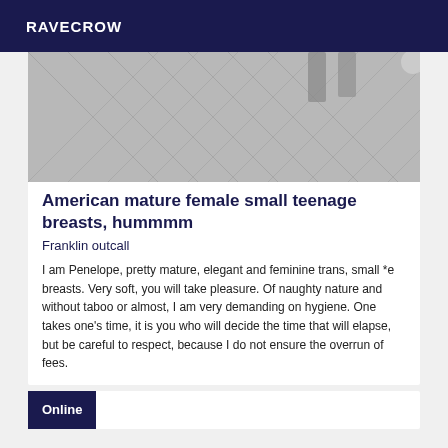RAVECROW
[Figure (photo): Partial view of a floor with herringbone or chevron pattern, gray tones, bottom portion of what appears to be furniture legs visible]
American mature female small teenage breasts, hummmm
Franklin outcall
I am Penelope, pretty mature, elegant and feminine trans, small *e breasts. Very soft, you will take pleasure. Of naughty nature and without taboo or almost, I am very demanding on hygiene. One takes one's time, it is you who will decide the time that will elapse, but be careful to respect, because I do not ensure the overrun of fees.
Online